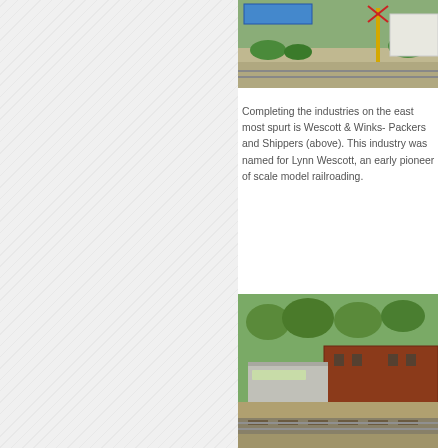[Figure (photo): Top photo: Model railroad scene showing a railroad crossing with a blue sign, crossing signal with yellow post, and gravel road area with greenery]
Completing the industries on the east most spurt is Wescott & Winks- Packers and Shippers (above). This industry was named for Lynn Wescott, an early pioneer of scale model railroading.
[Figure (photo): Bottom photo: Model railroad scene showing a brick industrial building (Wescott & Winks) with a loading dock area, railroad tracks in foreground, and trees in background]